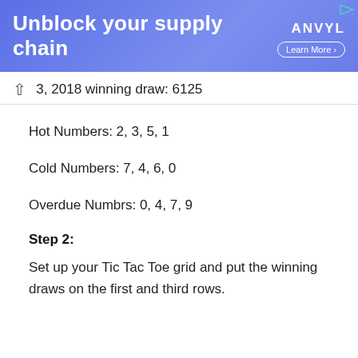[Figure (other): Advertisement banner for ANVYL with text 'Unblock your supply chain' and 'Learn More' button on a blue/purple gradient background]
3, 2018 winning draw: 6125
Hot Numbers: 2, 3, 5, 1
Cold Numbers: 7, 4, 6, 0
Overdue Numbrs: 0, 4, 7, 9
Step 2:
Set up your Tic Tac Toe grid and put the winning draws on the first and third rows.